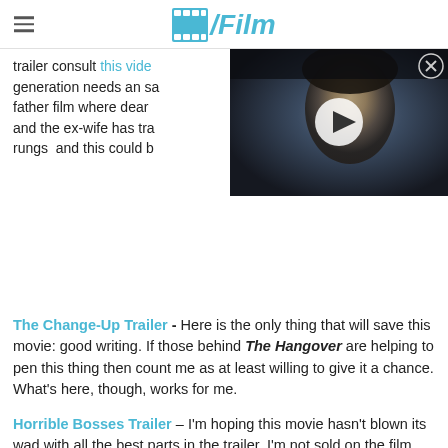/Film
trailer consult this video... generation needs an sa... father film where dear... and the ex-wife has tra... rungs and this could b...
[Figure (screenshot): Video overlay showing a woman's face with a play button, dark cinematic scene]
The Change-Up Trailer - Here is the only thing that will save this movie: good writing. If those behind The Hangover are helping to pen this thing then count me as at least willing to give it a chance. What's here, though, works for me.
Horrible Bosses Trailer – I'm hoping this movie hasn't blown its wad with all the best parts in the trailer. I'm not sold on the film with this but it's a solid salvo...